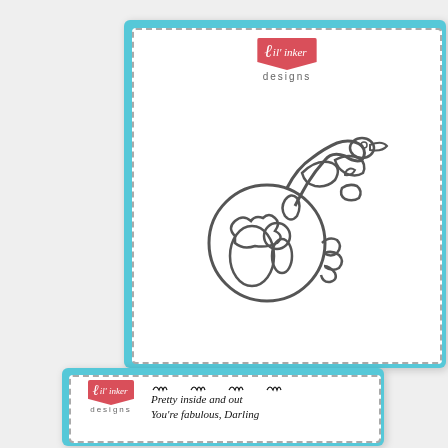[Figure (photo): Top product card from Lil' Inker Designs showing die cut pieces including a flamingo/bird shape with circular element on a white card with teal/blue dotted border background]
[Figure (photo): Bottom product card from Lil' Inker Designs showing a clear stamp set with eyelash images and text stamps reading 'Pretty inside and out' and 'You're fabulous, Darling' on white card with teal dotted border background]